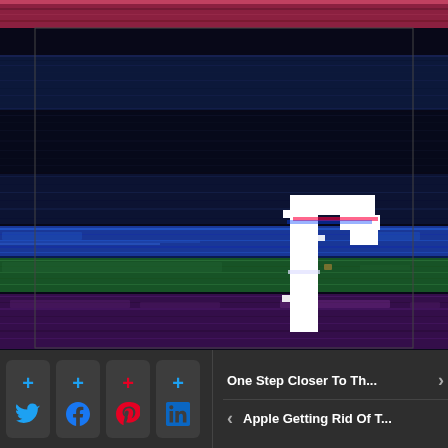[Figure (screenshot): Glitch-art style screenshot of a video editing timeline (likely Final Cut Pro or similar), showing horizontal colored bands (dark navy, blue, green, purple) representing video/audio tracks with a white glitched letter 'r' watermark overlaid in the center. A red/pink banner is partially visible at the very top.]
[Figure (infographic): Bottom navigation bar with four social sharing buttons (Twitter, Facebook, Pinterest, LinkedIn) each showing a blue/red plus icon above the social icon, and two article navigation links: 'One Step Closer To Th...' with a right arrow, and 'Apple Getting Rid Of T...' with a left arrow.]